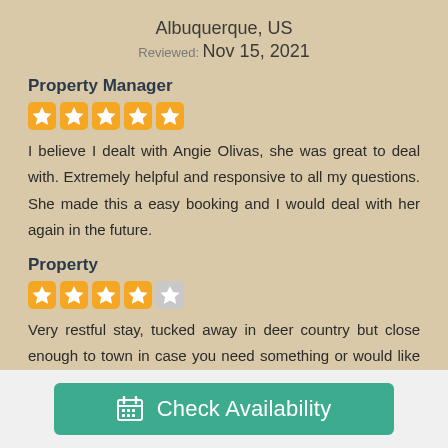Albuquerque, US
Reviewed: Nov 15, 2021
Property Manager
[Figure (other): 5 orange stars rating]
I believe I dealt with Angie Olivas, she was great to deal with. Extremely helpful and responsive to all my questions. She made this a easy booking and I would deal with her again in the future.
Property
[Figure (other): 4 orange stars and 1 grey star rating]
Very restful stay, tucked away in deer country but close enough to town in case you need something or would like to shop. Very well kept cabin with a great view.
Check Availability